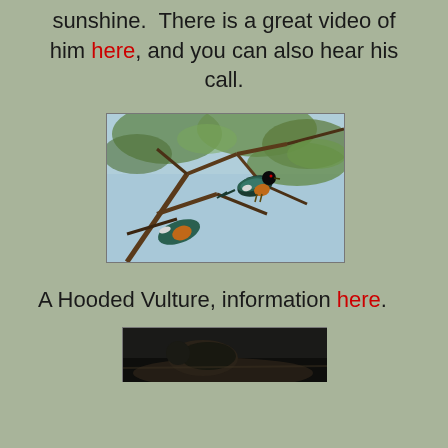sunshine. There is a great video of him here, and you can also hear his call.
[Figure (photo): Two colorful birds (likely superb starlings or similar African birds with iridescent blue-green, orange, and white plumage) perched on tree branches with green foliage and blue sky in background.]
A Hooded Vulture, information here.
[Figure (photo): Partial view of a Hooded Vulture, partially visible at bottom of page.]